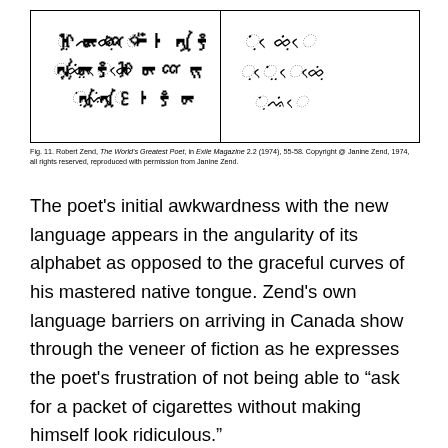[Figure (illustration): Two side-by-side boxes containing text written in a stylized invented/foreign script alphabet. Left box shows one script variant, right box shows another script variant.]
Fig. 11. Robert Zend, The World's Greatest Poet, in Exile Magazine 2.2 (1974), 55-58. Copyright @ Janine Zend, 1974, all rights reserved, reproduced with permission from Janine Zend.
The poet's initial awkwardness with the new language appears in the angularity of its alphabet as opposed to the graceful curves of his mastered native tongue. Zend's own language barriers on arriving in Canada show through the veneer of fiction as he expresses the poet's frustration of not being able to “ask for a packet of cigarettes without making himself look ridiculous.”
    In addition to the challenges of learning a new language, Zend felt himself to be linguistically and psychologically “in limbo because I wasn’t a Canadian